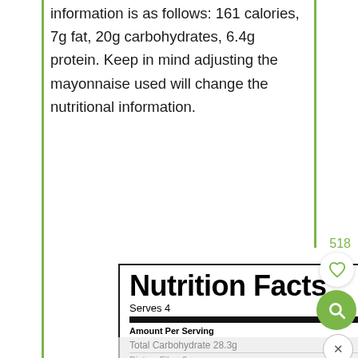information is as follows: 161 calories, 7g fat, 20g carbohydrates, 6.4g protein. Keep in mind adjusting the mayonnaise used will change the nutritional information.
[Figure (other): Nutrition Facts label showing: Serves 4, Calories 227, Total Fat 11.1g 14%, Cholesterol 0mg 0%, Total Carbohydrate 28.3g 10%, Dietary Fiber 6g 22%]
Total Carbohydrate 28.3g 10%
Dietary Fiber 6g 22%